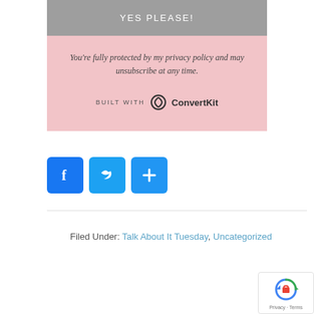YES PLEASE!
You're fully protected by my privacy policy and may unsubscribe at any time.
BUILT WITH ConvertKit
[Figure (other): Social share buttons: Facebook (blue f icon), Twitter (blue bird icon), and a general share button (blue plus icon)]
Filed Under: Talk About It Tuesday, Uncategorized
[Figure (other): Google reCAPTCHA badge with Privacy and Terms links]